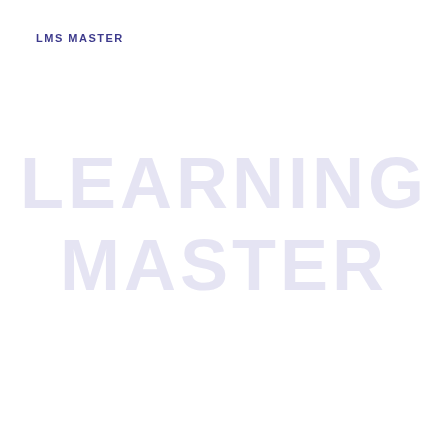LMS MASTER
[Figure (illustration): Large watermark text reading 'Learning Master' on two lines, rendered in very light purple/lavender color as a background watermark across the center of the page]